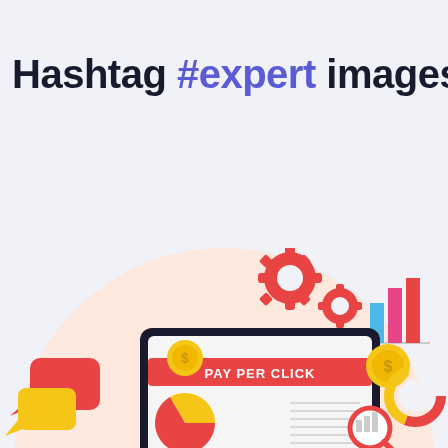Hashtag #expert images
[Figure (illustration): Digital marketing illustration showing a laptop/tablet screen with 'PAY PER CLICK' text on a red banner, coins with dollar signs, a bar chart with blue and pink/red bars, gear icons, chat bubbles in red and yellow, a pie/donut chart, and a magnifying glass icon. Set against a peach/pink circular background.]